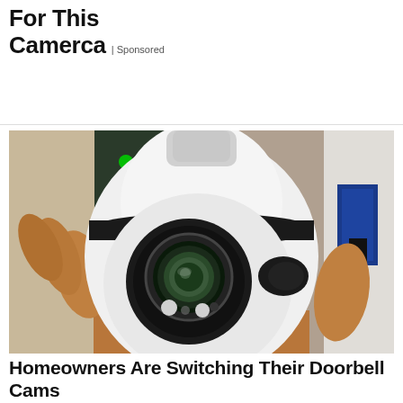For This
Camerca | Sponsored
[Figure (photo): A person holding a white bulb-shaped security camera with a rotating camera head featuring a wide-angle lens, photographed against a blurred background with green lights and blue box]
Homeowners Are Switching Their Doorbell Cams For This
Home Security | Sponsored